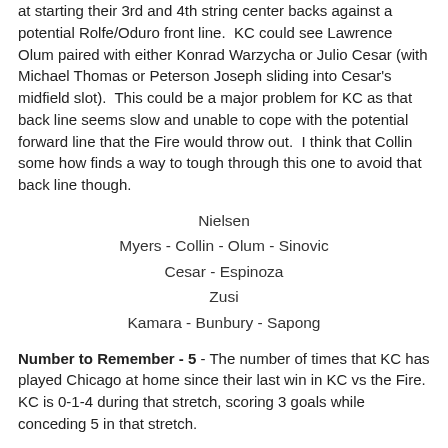at starting their 3rd and 4th string center backs against a potential Rolfe/Oduro front line.  KC could see Lawrence Olum paired with either Konrad Warzycha or Julio Cesar (with Michael Thomas or Peterson Joseph sliding into Cesar's midfield slot).  This could be a major problem for KC as that back line seems slow and unable to cope with the potential forward line that the Fire would throw out.  I think that Collin some how finds a way to tough through this one to avoid that back line though.
Nielsen
Myers - Collin - Olum - Sinovic
Cesar - Espinoza
Zusi
Kamara - Bunbury - Sapong
Number to Remember - 5 - The number of times that KC has played Chicago at home since their last win in KC vs the Fire.  KC is 0-1-4 during that stretch, scoring 3 goals while conceding 5 in that stretch.
Key Match Up - Sporting Center Backs vs Dominic Oduro